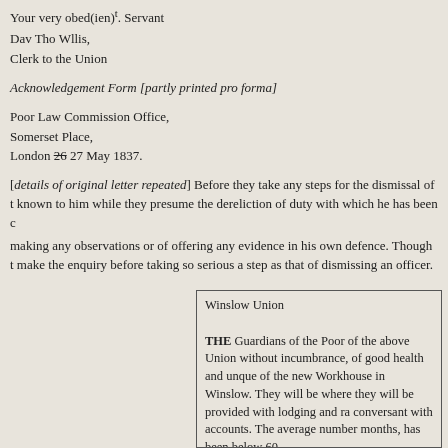Your very obed(ien)t. Servant
Dav Tho Wllis,
Clerk to the Union
Acknowledgement Form [partly printed pro forma]
Poor Law Commission Office,
Somerset Place,
London 26 27 May 1837.
[details of original letter repeated] Before they take any steps for the dismissal of t known to him while they presume the dereliction of duty with which he has been c making any observations or of offering any evidence in his own defence. Though t make the enquiry before taking so serious a step as that of dismissing an officer.
Winslow Union

THE Guardians of the Poor of the above Union without incumbrance, of good health and unque of the new Workhouse in Winslow. They will be where they will be provided with lodging and ra conversant with accounts. The average number months, has been below 60.